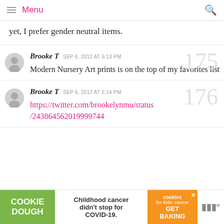Menu
yet, I prefer gender neutral items.
Brooke T SEP 6, 2012 AT 5:13 PM
Modern Nursery Art prints is on the top of my favorites list
175
Brooke T SEP 6, 2012 AT 5:14 PM
https://twitter.com/brookelynmu/status/243864562019999744
176
[Figure (other): Advertisement banner: Cookie Dough / Childhood cancer didn't stop for COVID-19 / cookies for kids cancer GET BAKING]